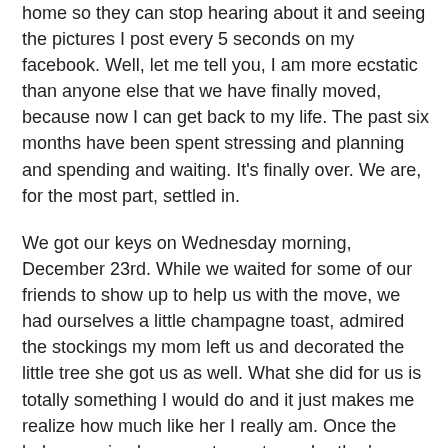home so they can stop hearing about it and seeing the pictures I post every 5 seconds on my facebook. Well, let me tell you, I am more ecstatic than anyone else that we have finally moved, because now I can get back to my life. The past six months have been spent stressing and planning and spending and waiting. It's finally over. We are, for the most part, settled in.
We got our keys on Wednesday morning, December 23rd. While we waited for some of our friends to show up to help us with the move, we had ourselves a little champagne toast, admired the stockings my mom left us and decorated the little tree she got us as well. What she did for us is totally something I would do and it just makes me realize how much like her I really am. Once the helpers arrived, we went over to my brother's house to pick up my couches I had been letting them borrow for the past year and a half. Not having anything to tie them down with, I stressed the whole 15 minutes back to our place that they might fly out of the back of the truck. They made it. And the guys maneuvered them upstairs to the loft without damaging the couches or the walls. I almost couldn't watch.